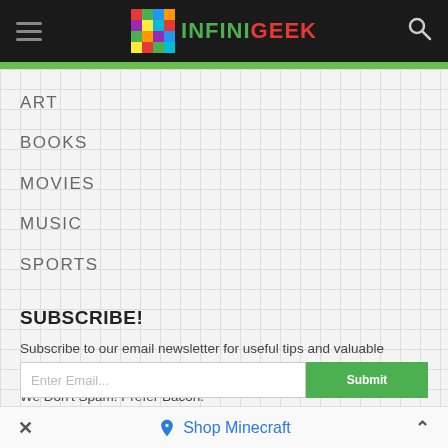INFINIGEEK navigation header with hamburger menu and search icon
ART
BOOKS
MOVIES
MUSIC
SPORTS
SUBSCRIBE!
Subscribe to our email newsletter for useful tips and valuable resources, sent out every few weeks.
We Don't Spam! Prefer Bacon.
Shop Minecraft